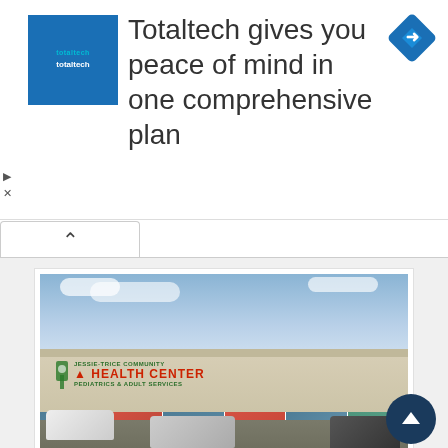[Figure (infographic): Totaltech advertisement banner with blue logo box, headline text, and blue diamond navigation icon]
[Figure (photo): Street-level photo of Jessie-Trice Community Health Center at Flamingo Plaza, Hialeah, showing building facade with signage and parked cars in foreground]
Hialeah Med Center Flamingo Plaz